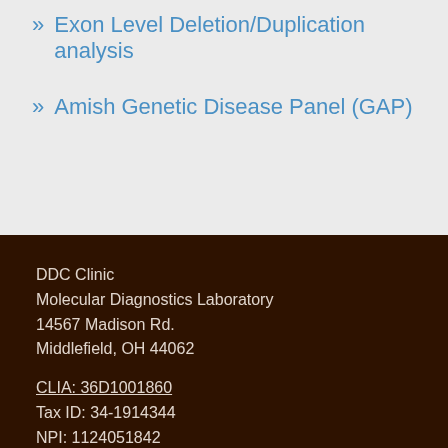» Exon Level Deletion/Duplication analysis
» Amish Genetic Disease Panel (GAP)
DDC Clinic
Molecular Diagnostics Laboratory
14567 Madison Rd.
Middlefield, OH 44062
CLIA: 36D1001860
Tax ID: 34-1914344
NPI: 1124051842
Telephone: 440-632-5532